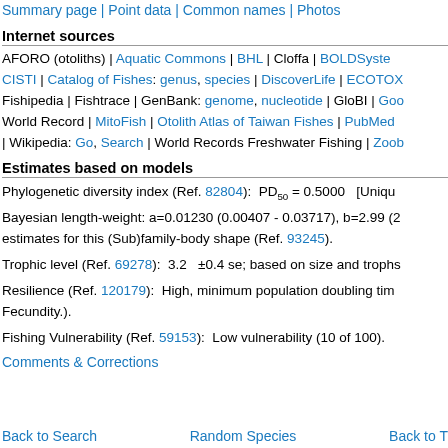Summary page | Point data | Common names | Photos
Internet sources
AFORO (otoliths) | Aquatic Commons | BHL | Cloffa | BOLDSystems | CISTI | Catalog of Fishes: genus, species | DiscoverLife | ECOTOX | Fishipedia | Fishtrace | GenBank: genome, nucleotide | GloBI | Google Scholar | Gombaseki World Record | MitoFish | Otolith Atlas of Taiwan Fishes | PubMed | Reef Life Survey | Socotra Atlas | Wikipedia: Go, Search | World Records Freshwater Fishing | Zoobank | Zoological Record
Estimates based on models
Phylogenetic diversity index (Ref. 82804):  PD50 = 0.5000   [Unique]
Bayesian length-weight: a=0.01230 (0.00407 - 0.03717), b=2.99 (2.79 - 3.19), in cm total length, based on estimates for this (Sub)family-body shape (Ref. 93245).
Trophic level (Ref. 69278):  3.2   ±0.4 se; based on size and trophs of closest relatives
Resilience (Ref. 120179):  High, minimum population doubling time less than 15 months (Fecundity.).
Fishing Vulnerability (Ref. 59153):  Low vulnerability (10 of 100).
Comments & Corrections
Back to Search | Random Species | Back to Top